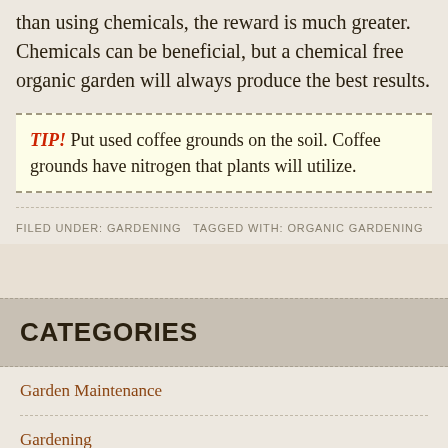than using chemicals, the reward is much greater. Chemicals can be beneficial, but a chemical free organic garden will always produce the best results.
TIP! Put used coffee grounds on the soil. Coffee grounds have nitrogen that plants will utilize.
FILED UNDER: GARDENING TAGGED WITH: ORGANIC GARDENING
CATEGORIES
Garden Maintenance
Gardening
organic garden,pine needles